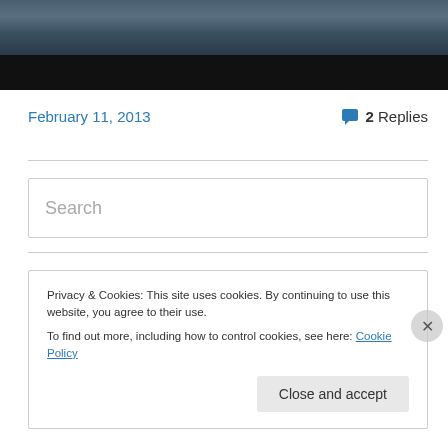[Figure (photo): Top banner image showing an aerial or cityscape photograph with dark overlay, transitioning to a black bar at the bottom]
February 11, 2013
2 Replies
Search
Privacy & Cookies: This site uses cookies. By continuing to use this website, you agree to their use.
To find out more, including how to control cookies, see here: Cookie Policy
Close and accept